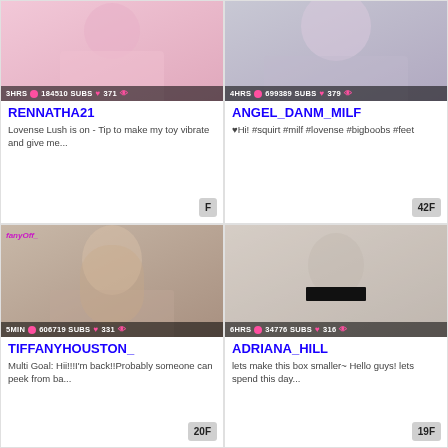[Figure (photo): Thumbnail photo for RENNATHA21 stream, person in pink outfit]
3HRS  184510 SUBS  371
RENNATHA21
Lovense Lush is on - Tip to make my toy vibrate and give me...
F
[Figure (photo): Thumbnail photo for ANGEL_DANM_MILF stream, blonde person]
4HRS  699389 SUBS  379
ANGEL_DANM_MILF
♥Hi! #squirt #milf #lovense #bigboobs #feet
42F
[Figure (photo): Thumbnail photo for TIFFANYHOUSTON_ stream, person with long brown hair]
5MIN  606719 SUBS  331
TIFFANYHOUSTON_
Multi Goal: Hii!!!I'm back!!Probably someone can peek from ba...
20F
[Figure (photo): Thumbnail photo for ADRIANA_HILL stream, person with dark hair]
6HRS  34776 SUBS  316
ADRIANA_HILL
lets make this box smaller~ Hello guys! lets spend this day...
19F